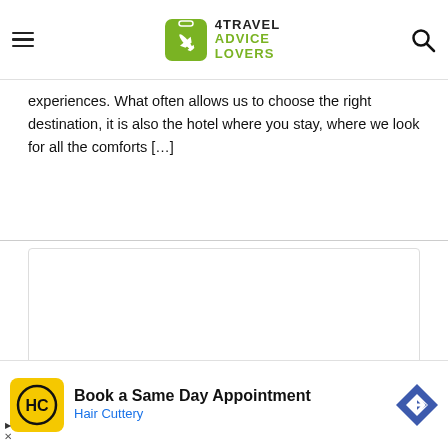4Travel Advice Lovers
experiences. What often allows us to choose the right destination, it is also the hotel where you stay, where we look for all the comforts [...]
[Figure (other): White card/box area with a chevron collapse button below it]
[Figure (other): Advertisement banner: Book a Same Day Appointment - Hair Cuttery, with HC logo and navigation arrow icon]